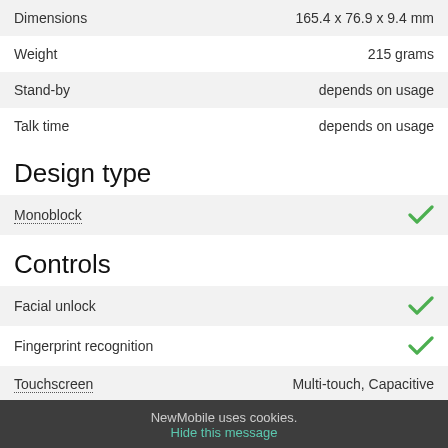|  |  |
| --- | --- |
| Dimensions | 165.4 x 76.9 x 9.4 mm |
| Weight | 215 grams |
| Stand-by | depends on usage |
| Talk time | depends on usage |
Design type
|  |  |
| --- | --- |
| Monoblock | ✓ |
Controls
|  |  |
| --- | --- |
| Facial unlock | ✓ |
| Fingerprint recognition | ✓ |
| Touchscreen | Multi-touch, Capacitive |
| Voice command | ✓ |
| Voice dialing | ✓ |
NewMobile uses cookies. Hide this message